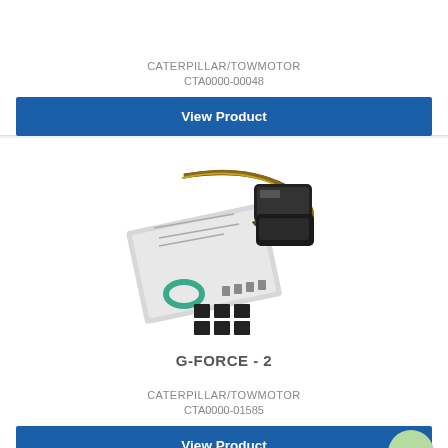CATERPILLAR/TOWMOTOR
CTA0000-00048
View Product
[Figure (photo): Product photo of G-FORCE - 2 kit including wiring harness, control module, mounting hardware, and installation instructions]
G-FORCE - 2
CATERPILLAR/TOWMOTOR
CTA0000-01585
View Product